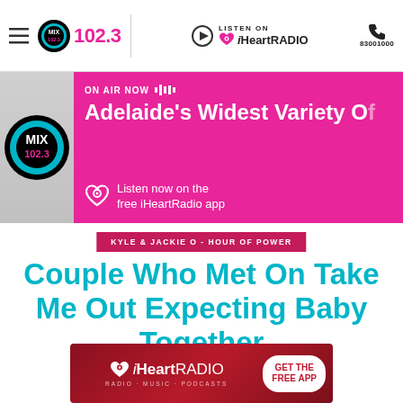MIX 102.3 | LISTEN ON iHeartRADIO | 83001000
[Figure (screenshot): MIX 102.3 radio station banner showing ON AIR NOW - Adelaide's Widest Variety O... with iHeartRadio listen now prompt]
KYLE & JACKIE O - HOUR OF POWER
Couple Who Met On Take Me Out Expecting Baby Together
[Figure (logo): iHeartRADIO advertisement banner - GET THE FREE APP]